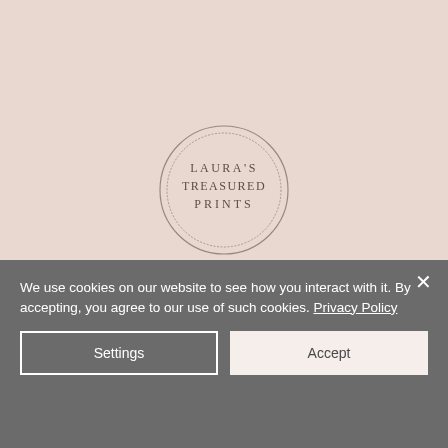[Figure (logo): Laura's Treasured Prints circular logo with two concentric circles and text inside reading LAURA'S TREASURED PRINTS in serif font on a dusty pink background]
We use cookies on our website to see how you interact with it. By accepting, you agree to our use of such cookies. Privacy Policy
Settings
Accept